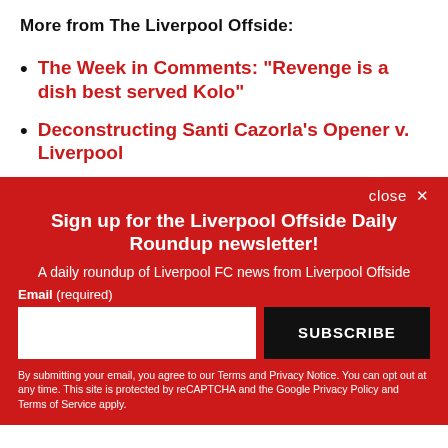More from The Liverpool Offside:
The Week in Comments: "Revenge is a dish best served Kolo"
Deconstructing Santi Cazorla's Opener v. Liverpool
Sign up for the Liverpool Offside Daily Roundup newsletter!
A daily roundup of Liverpool FC news from Liverpool Offside
Email (required)
SUBSCRIBE
By submitting your email, you agree to our Terms and Privacy Notice. You can opt out at any time. This site is protected by reCAPTCHA and the Google Privacy Policy and Terms of Service apply.